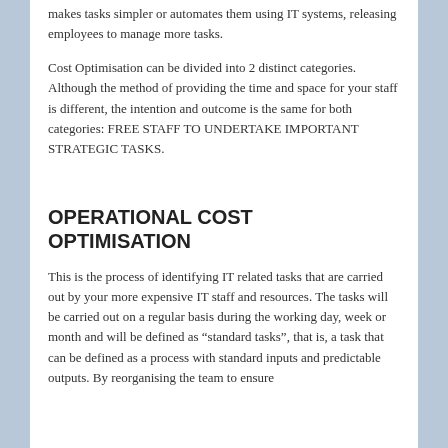makes tasks simpler or automates them using IT systems, releasing employees to manage more tasks.
Cost Optimisation can be divided into 2 distinct categories. Although the method of providing the time and space for your staff is different, the intention and outcome is the same for both categories: FREE STAFF TO UNDERTAKE IMPORTANT STRATEGIC TASKS.
OPERATIONAL COST OPTIMISATION
This is the process of identifying IT related tasks that are carried out by your more expensive IT staff and resources. The tasks will be carried out on a regular basis during the working day, week or month and will be defined as “standard tasks”, that is, a task that can be defined as a process with standard inputs and predictable outputs. By reorganising the team to ensure